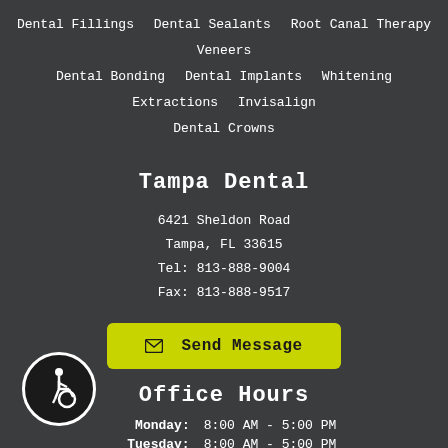Dental Fillings   Dental Sealants   Root Canal Therapy   Veneers
Dental Bonding   Dental Implants   Whitening   Extractions   Invisalign
Dental Crowns
Tampa Dental
6421 Sheldon Road
Tampa, FL 33615
Tel: 813-888-9004
Fax: 813-888-9517
Send Message
Office Hours
| Day | Hours |
| --- | --- |
| Monday: | 8:00 AM - 5:00 PM |
| Tuesday: | 8:00 AM - 5:00 PM |
| Wednesday: | 9:00 AM - 5:00 PM |
| Thursday: | 8:00 AM - 5:00 PM |
[Figure (illustration): Wheelchair accessibility icon — white wheelchair symbol inside a black circle with white border]